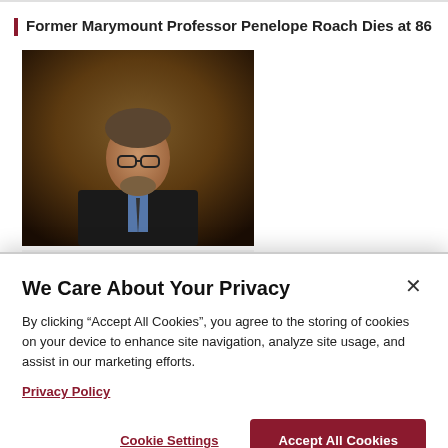Former Marymount Professor Penelope Roach Dies at 86
[Figure (photo): Portrait photo of a man in a dark suit and glasses against a dark brown background]
MAY 6, 2019
Saul Cornell Takes a New
We Care About Your Privacy
By clicking “Accept All Cookies”, you agree to the storing of cookies on your device to enhance site navigation, analyze site usage, and assist in our marketing efforts.
Privacy Policy
Cookie Settings
Accept All Cookies